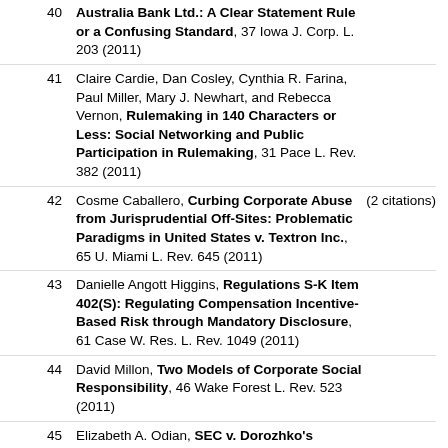40. Australia Bank Ltd.: A Clear Statement Rule or a Confusing Standard, 37 Iowa J. Corp. L. 203 (2011)
41. Claire Cardie, Dan Cosley, Cynthia R. Farina, Paul Miller, Mary J. Newhart, and Rebecca Vernon, Rulemaking in 140 Characters or Less: Social Networking and Public Participation in Rulemaking, 31 Pace L. Rev. 382 (2011)
42. Cosme Caballero, Curbing Corporate Abuse from Jurisprudential Off-Sites: Problematic Paradigms in United States v. Textron Inc., 65 U. Miami L. Rev. 645 (2011) (2 citations)
43. Danielle Angott Higgins, Regulations S-K Item 402(S): Regulating Compensation Incentive-Based Risk through Mandatory Disclosure, 61 Case W. Res. L. Rev. 1049 (2011)
44. David Millon, Two Models of Corporate Social Responsibility, 46 Wake Forest L. Rev. 523 (2011)
45. Elizabeth A. Odian, SEC v. Dorozhko's Affirmative Misrepresentation Theory of Insider Trading: An Improper Means to a Proper End, 94 Marq. L. Rev. 1313 (2011)